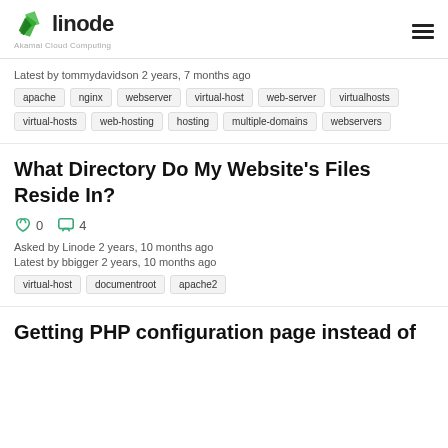linode — Akamai Cloud Computing
Latest by tommydavidson 2 years, 7 months ago
apache nginx webserver virtual-host web-server virtualhosts virtual-hosts web-hosting hosting multiple-domains webservers
What Directory Do My Website's Files Reside In?
0  4
Asked by Linode 2 years, 10 months ago
Latest by bbigger 2 years, 10 months ago
virtual-host documentroot apache2
Getting PHP configuration page instead of